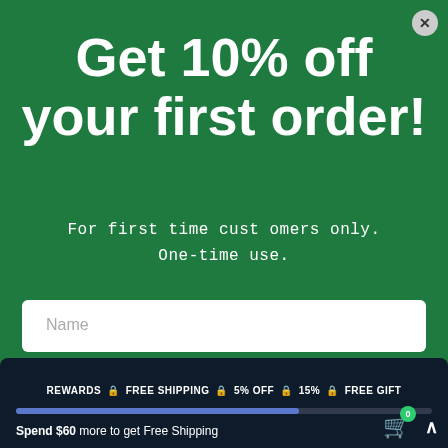Get 10% off your first order!
For first time customers only. One-time use.
[Figure (screenshot): Name input field (empty, placeholder text 'Name')]
[Figure (screenshot): Email input field (empty, placeholder text 'Email')]
Send me my promo code
REWARDS | FREE SHIPPING | 5% OFF | 15% | FREE GIFT — Spend $60 more to get Free Shipping